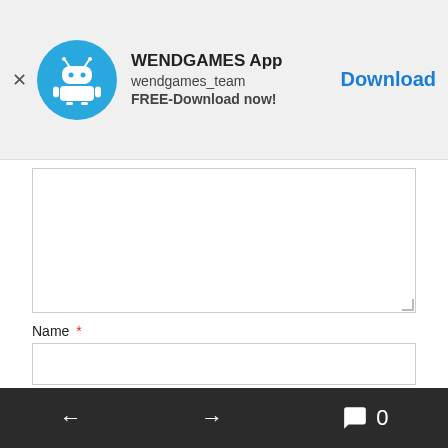[Figure (screenshot): App advertisement banner: WENDGAMES App, wendgames_team, FREE-Download now! with Android robot icon and Download button]
Name *
Email *
Website
Post Comment
[Figure (screenshot): Mobile browser bottom navigation bar with back arrow, forward arrow, comment icon and count 0]